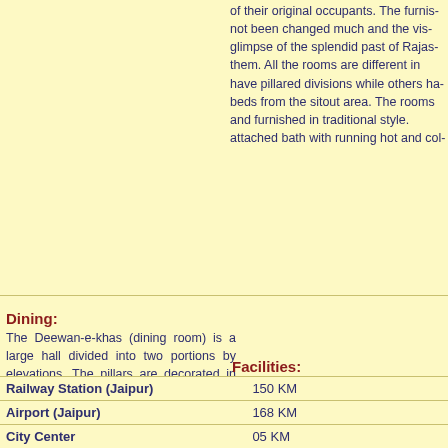of their original occupants. The furnis- not been changed much and the vis- glimpse of the splendid past of Rajas- them. All the rooms are different in have pillared divisions while others ha- beds from the sitout area. The rooms and furnished in traditional style. attached bath with running hot and col-
Dining:
The Deewan-e-khas (dining room) is a large hall divided into two portions by elevations. The pillars are decorated in traditional style and ambience. The cuisine is mainly Rajasthani except the breakfast, which is more or less continental.
Facilities:
The Rang Mahal is the lifeline of colorfully decorated with family portr- and comfortable furniture. It is a three hall, the elevated sitout and a further houses the family temple. The pillars and the wooden railing above beautifie-
| Location | Distance |
| --- | --- |
| Railway Station (Jaipur) | 150 KM |
| Airport (Jaipur) | 168 KM |
| City Center | 05 KM |